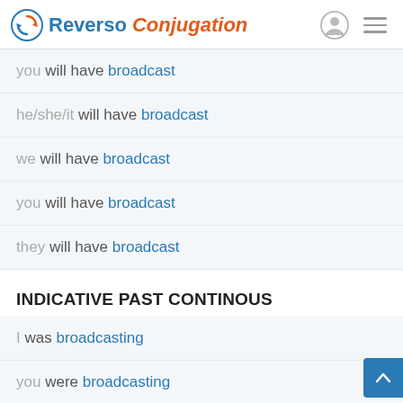Reverso Conjugation
you will have broadcast
he/she/it will have broadcast
we will have broadcast
you will have broadcast
they will have broadcast
INDICATIVE PAST CONTINOUS
I was broadcasting
you were broadcasting
he/she/it was broadcasting